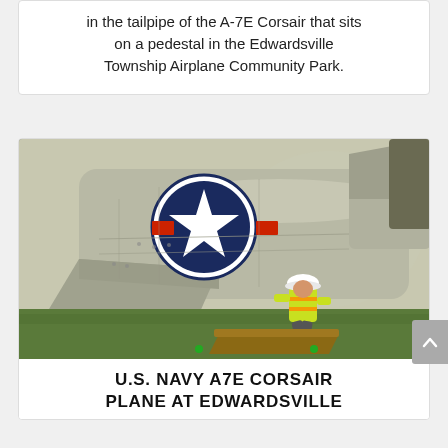in the tailpipe of the A-7E Corsair that sits on a pedestal in the Edwardsville Township Airplane Community Park.
[Figure (photo): A worker in a hard hat and yellow safety vest crouches beneath the fuselage of a U.S. Navy A7E Corsair airplane. The plane bears a large U.S. military star insignia on its side. The setting appears to be outdoors on grass.]
U.S. NAVY A7E CORSAIR PLANE AT EDWARDSVILLE